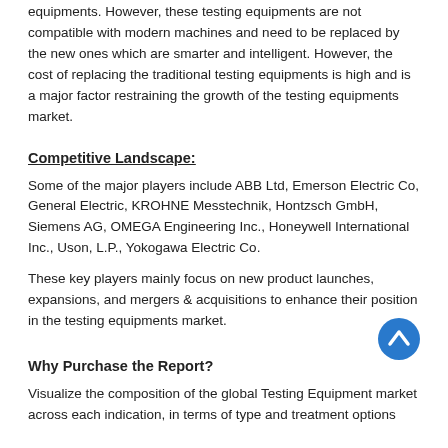equipments. However, these testing equipments are not compatible with modern machines and need to be replaced by the new ones which are smarter and intelligent. However, the cost of replacing the traditional testing equipments is high and is a major factor restraining the growth of the testing equipments market.
Competitive Landscape:
Some of the major players include ABB Ltd, Emerson Electric Co, General Electric, KROHNE Messtechnik, Hontzsch GmbH, Siemens AG, OMEGA Engineering Inc., Honeywell International Inc., Uson, L.P., Yokogawa Electric Co.
These key players mainly focus on new product launches, expansions, and mergers & acquisitions to enhance their position in the testing equipments market.
Why Purchase the Report?
Visualize the composition of the global Testing Equipment market across each indication, in terms of type and treatment options